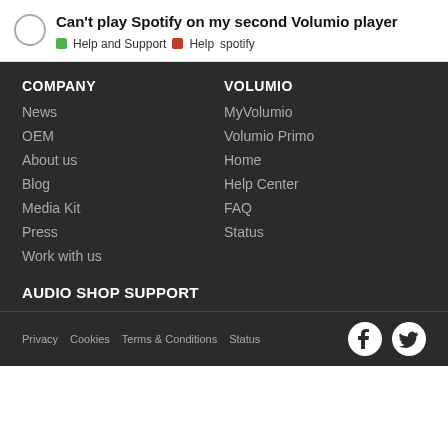Can't play Spotify on my second Volumio player
Help and Support  Help  spotify
COMPANY
News
OEM
About us
Blog
Media Kit
Press
Work with us
VOLUMIO
MyVolumio
Volumio Primo
Home
Help Center
FAQ
Status
AUDIO SHOP SUPPORT
Privacy  Cookies  Terms & Conditions  Status